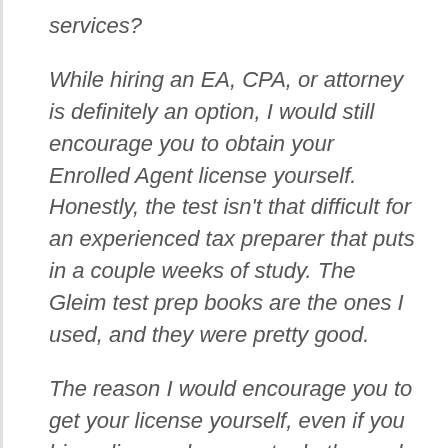services?
While hiring an EA, CPA, or attorney is definitely an option, I would still encourage you to obtain your Enrolled Agent license yourself. Honestly, the test isn't that difficult for an experienced tax preparer that puts in a couple weeks of study. The Gleim test prep books are the ones I used, and they were pretty good.
The reason I would encourage you to get your license yourself, even if you hire a licensed person to do the work, is because by IRS regulation, you must be licensed in order to solicit representation